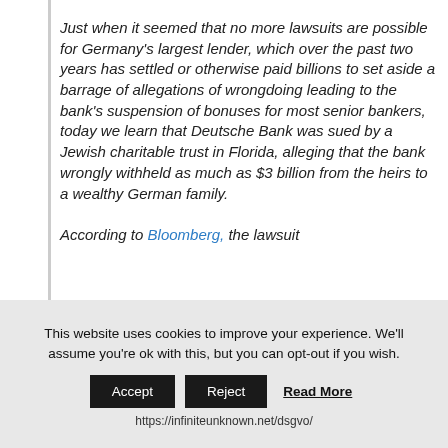Just when it seemed that no more lawsuits are possible for Germany's largest lender, which over the past two years has settled or otherwise paid billions to set aside a barrage of allegations of wrongdoing leading to the bank's suspension of bonuses for most senior bankers, today we learn that Deutsche Bank was sued by a Jewish charitable trust in Florida, alleging that the bank wrongly withheld as much as $3 billion from the heirs to a wealthy German family.

According to Bloomberg, the lawsuit
This website uses cookies to improve your experience. We'll assume you're ok with this, but you can opt-out if you wish. Accept Reject Read More https://infiniteunknown.net/dsgvo/